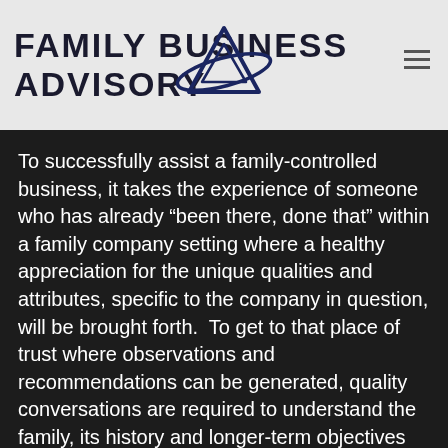FAMILY BUSINESS ADVISORY
To successfully assist a family-controlled business, it takes the experience of someone who has already “been there, done that” within a family company setting where a healthy appreciation for the unique qualities and attributes, specific to the company in question, will be brought forth.  To get to that place of trust where observations and recommendations can be generated, quality conversations are required to understand the family, its history and longer-term objectives for the company and all involved.